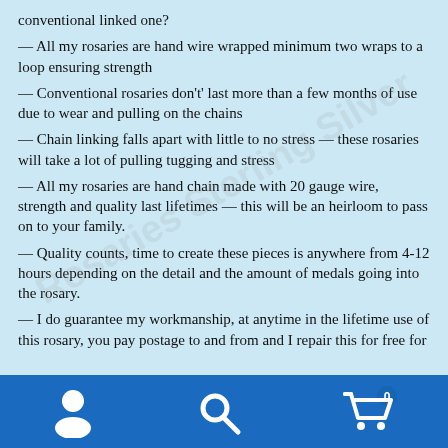conventional linked one?
— All my rosaries are hand wire wrapped minimum two wraps to a loop ensuring strength
— Conventional rosaries don't' last more than a few months of use due to wear and pulling on the chains
— Chain linking falls apart with little to no stress — these rosaries will take a lot of pulling tugging and stress
— All my rosaries are hand chain made with 20 gauge wire, strength and quality last lifetimes — this will be an heirloom to pass on to your family.
— Quality counts, time to create these pieces is anywhere from 4-12 hours depending on the detail and the amount of medals going into the rosary.
— I do guarantee my workmanship, at anytime in the lifetime use of this rosary, you pay postage to and from and I repair this for free for
Navigation bar with user, search, and cart icons